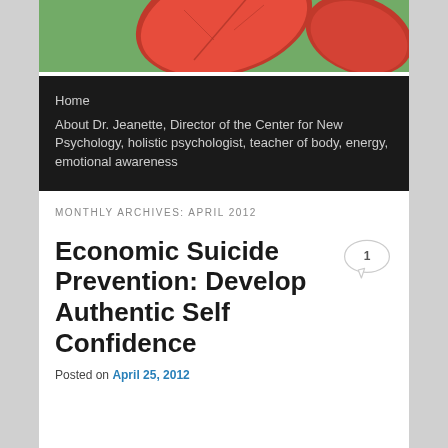[Figure (photo): Red leaves on green background, close-up nature photo]
Home
About Dr. Jeanette, Director of the Center for New Psychology, holistic psychologist, teacher of body, energy, emotional awareness
MONTHLY ARCHIVES: APRIL 2012
Economic Suicide Prevention: Develop Authentic Self Confidence
Posted on April 25, 2012